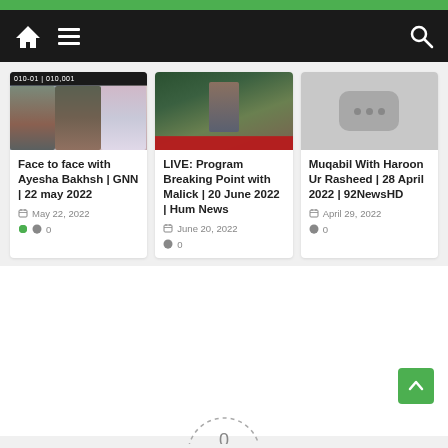Navigation bar with home, menu, and search icons
[Figure (screenshot): Thumbnail image of TV talk show with three panelists]
Face to face with Ayesha Bakhsh | GNN | 22 may 2022
May 22, 2022
0
[Figure (screenshot): Thumbnail image of live TV program with speaker at podium]
LIVE: Program Breaking Point with Malick | 20 June 2022 | Hum News
June 20, 2022
0
[Figure (screenshot): Placeholder thumbnail with dots icon]
Muqabil With Haroon Ur Rasheed | 28 April 2022 | 92NewsHD
April 29, 2022
0